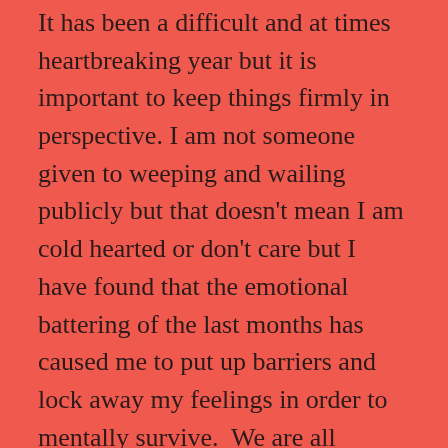It has been a difficult and at times heartbreaking year but it is important to keep things firmly in perspective. I am not someone given to weeping and wailing publicly but that doesn't mean I am cold hearted or don't care but I have found that the emotional battering of the last months has caused me to put up barriers and lock away my feelings in order to mentally survive.  We are all different in our reactions to situations and how we deal with emotional stress.
One thing I do know and what this year has taught me and made me understand is that we all must live for the moment, put the past back where it belongs, firmly in the past, look to the future with a sense of expectancy and pleasure